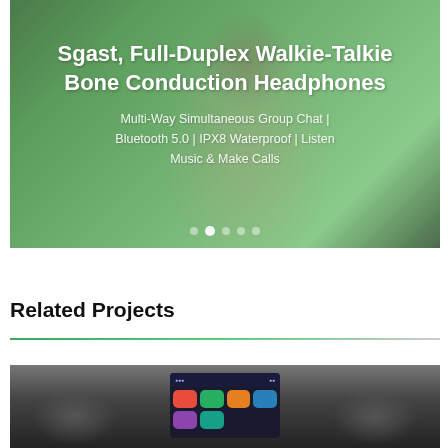[Figure (photo): Hero product image showing a person wearing bone conduction headphones outdoors with green foliage background. White text overlay shows product name and features. Navigation dots at bottom.]
Related Projects
[Figure (photo): Car dashboard/interior photo showing an infotainment touchscreen with app icons including messaging, navigation and media apps. Dark grey dashboard with air vents on sides.]